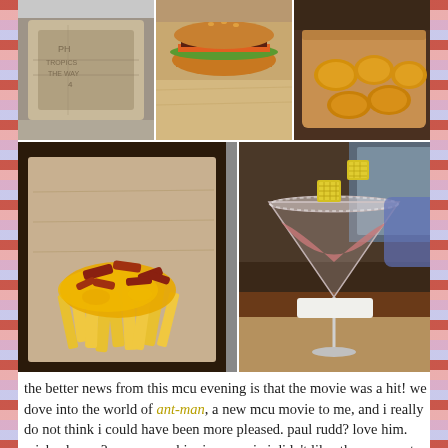[Figure (photo): Collage of five food and drink photos: a wrapped burger/sandwich, a burger with fries and toppings, fried nuggets on a wooden board, a large portion of bacon cheese fries on paper wrapping, and a pink cocktail in a martini glass garnished with pineapple.]
the better news from this mcu evening is that the movie was a hit! we dove into the world of ant-man, a new mcu movie to me, and i really do not think i could have been more pleased. paul rudd? love him. michael pena? never seen him in a movie i didn't like. the super extra shrinking and enlarging and honestly ridiculously silly parts towards the